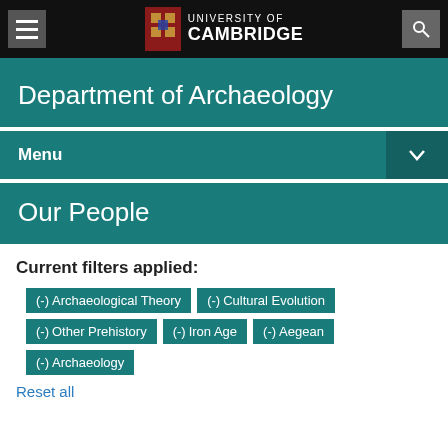University of Cambridge
Department of Archaeology
Menu
Our People
Current filters applied:
(-) Archaeological Theory
(-) Cultural Evolution
(-) Other Prehistory
(-) Iron Age
(-) Aegean
(-) Archaeology
Reset all